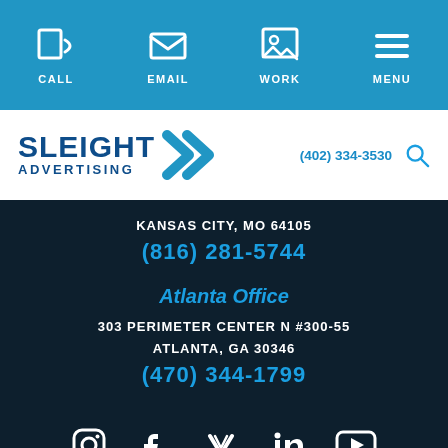CALL | EMAIL | WORK | MENU
[Figure (logo): Sleight Advertising logo with blue text and double chevron]
KANSAS CITY, MO 64105
(816) 281-5744
Atlanta Office
303 PERIMETER CENTER N #300-55
ATLANTA, GA 30346
(470) 344-1799
Social media icons: Instagram, Facebook, Vimeo, LinkedIn, YouTube